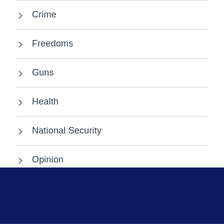Crime
Freedoms
Guns
Health
National Security
Opinion
People
Politics
Uncategorized